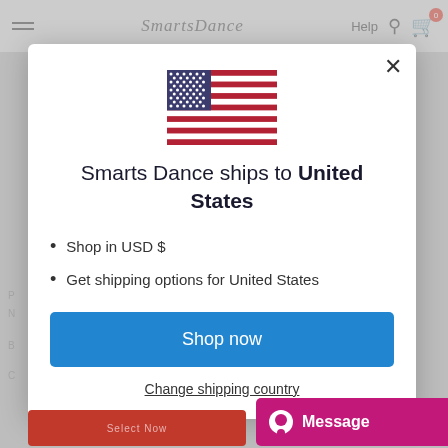[Figure (screenshot): Background website header with Smarts Dance logo, hamburger menu, Help text, user icon, and cart icon with badge showing 0]
[Figure (illustration): US flag SVG inside modal dialog]
Smarts Dance ships to United States
Shop in USD $
Get shipping options for United States
Shop now
Change shipping country
[Figure (screenshot): Message chat button in magenta/pink at bottom right]